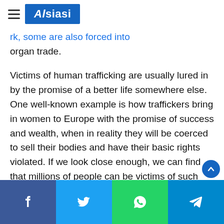Alsiasi
millions to trafficking adults and children to sell their bodies for ... rk, some are also forced into organ trade.
Victims of human trafficking are usually lured in by the promise of a better life somewhere else. One well-known example is how traffickers bring in women to Europe with the promise of success and wealth, when in reality they will be coerced to sell their bodies and have their basic rights violated. If we look close enough, we can find that millions of people can be victims of such inhuman violations.
In Italy, a gang was arrested for trafficking women from Nigeria into Italy and forcing them into prostitution and begging for money on the streets. Just like with most human trafficking cases, these women were promised great things, but instead
Facebook | Twitter | WhatsApp | Telegram